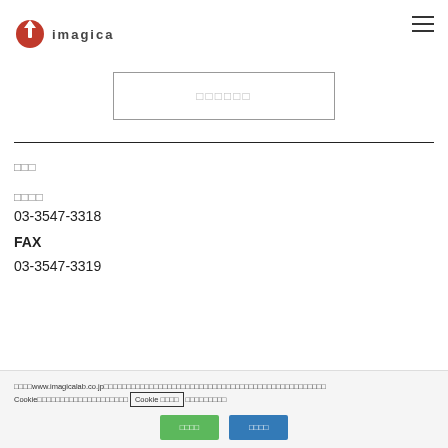IMAGICA
[Figure (other): Search box with placeholder text in Japanese]
お問い合わせ
電話番号
03-3547-3318
FAX
03-3547-3319
このサイトwww.imagicalab.co.jpではサービスの提供にCookieを使用しています。Cookieは機能の確保や使用状況の解析などに使用されます。Cookie ポリシーの詳細はこちらをご覧ください。
すべて許可 設定する